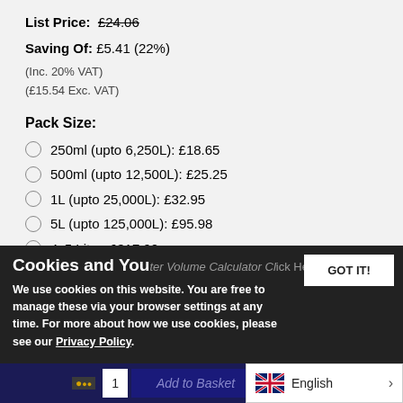List Price: £24.06
Saving Of: £5.41 (22%)
(Inc. 20% VAT)
(£15.54 Exc. VAT)
Pack Size:
250ml (upto 6,250L): £18.65
500ml (upto 12,500L): £25.25
1L (upto 25,000L): £32.95
5L (upto 125,000L): £95.98
4x5 Litre: £317.90
To preserve colour, use with Hydra Aqua-Brite
See all Hydra Water Dyes
Cookies and You
We use cookies on this website. You are free to manage these via your browser settings at any time. For more about how we use cookies, please see our Privacy Policy.